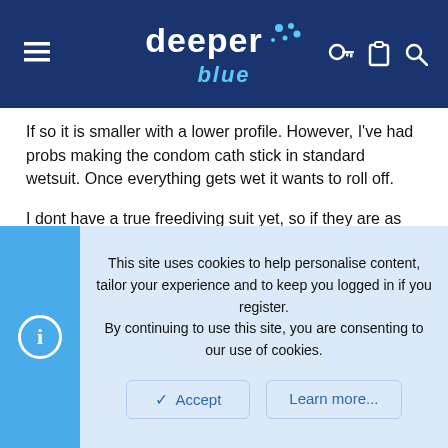deeper blue
If so it is smaller with a lower profile. However, I've had probs making the condom cath stick in standard wetsuit. Once everything gets wet it wants to roll off.

I dont have a true freediving suit yet, so if they are as watertight as is said, then a p-valve might work.

What kind of suit do you use? I'm looking at the Eliossub and Topsub

Dive safe
Brock
ash
This site uses cookies to help personalise content, tailor your experience and to keep you logged in if you register.
By continuing to use this site, you are consenting to our use of cookies.